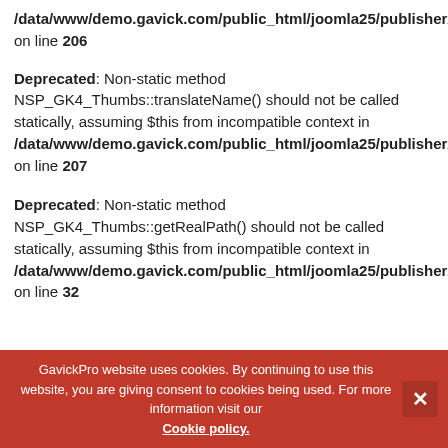/data/www/demo.gavick.com/public_html/joomla25/publisher/modules/mod_news_pro_gk4/gk_classes/gk.thumbs.php on line 206
Deprecated: Non-static method NSP_GK4_Thumbs::translateName() should not be called statically, assuming $this from incompatible context in /data/www/demo.gavick.com/public_html/joomla25/publisher/modules/mod_news_pro_gk4/gk_classes/gk.thumbs.php on line 207
Deprecated: Non-static method NSP_GK4_Thumbs::getRealPath() should not be called statically, assuming $this from incompatible context in /data/www/demo.gavick.com/public_html/joomla25/publisher/modules/mod_news_pro_gk4/gk_classes/gk.thumbs.php on line 32
GavickPro website uses cookies. By continuing to use this website, you are giving consent to cookies being used. For more information visit our Cookie policy.